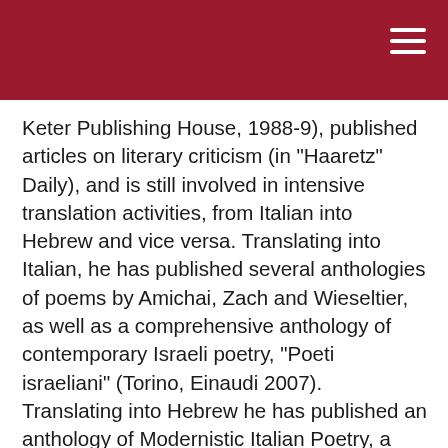Keter Publishing House, 1988-9), published articles on literary criticism (in "Haaretz" Daily), and is still involved in intensive translation activities, from Italian into Hebrew and vice versa. Translating into Italian, he has published several anthologies of poems by Amichai, Zach and Wieseltier, as well as a comprehensive anthology of contemporary Israeli poetry, "Poeti israeliani" (Torino, Einaudi 2007). Translating into Hebrew he has published an anthology of Modernistic Italian Poetry, a new version of Boccaccio's "Decameron" (completing and editing the unfinished Gaio Sciloni's translation), and the first Hebrew translation of Vico's "The New Science"(Jerusalem, Shalem Press 2005). His Hebrew translation of Primo Levi's